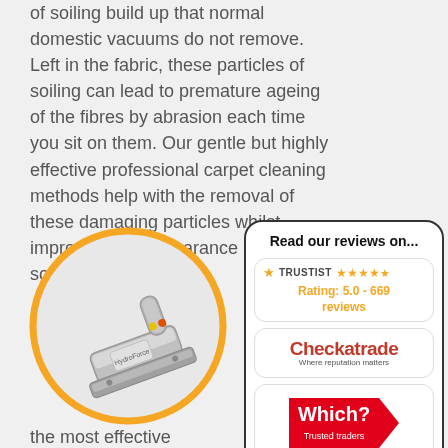of soiling build up that normal domestic vacuums do not remove. Left in the fabric, these particles of soiling can lead to premature ageing of the fibres by abrasion each time you sit on them. Our gentle but highly effective professional carpet cleaning methods help with the removal of these damaging particles whilst improving the appearance of your sofas.
[Figure (infographic): Review widget panel titled 'Read our reviews on...' containing Trustist (Rating: 5.0 - 669 reviews), Checkatrade (Where reputation matters), Which? Trusted traders, and Google Rating 5.0 logos]
[Figure (photo): Silver/metallic carpet cleaning tool head shown inside an orange circle on a light grey background]
the most effective